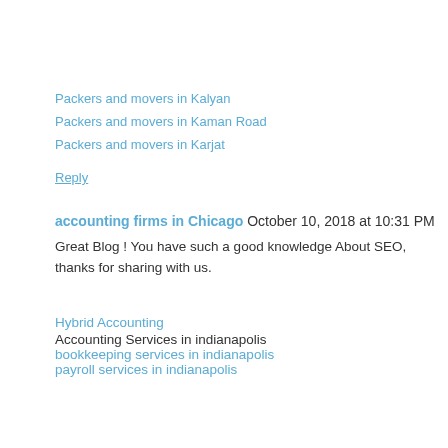Packers and movers in Kalyan
Packers and movers in Kaman Road
Packers and movers in Karjat
Reply
accounting firms in Chicago  October 10, 2018 at 10:31 PM
Great Blog ! You have such a good knowledge About SEO, thanks for sharing with us.
Hybrid Accounting
Accounting Services in indianapolis
bookkeeping services in indianapolis
payroll services in indianapolis